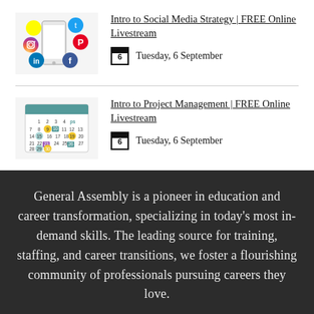[Figure (illustration): A hand holding a smartphone surrounded by social media icons: Twitter, Pinterest, Snapchat, Instagram, LinkedIn, Facebook]
Intro to Social Media Strategy | FREE Online Livestream
Tuesday, 6 September
[Figure (illustration): A monthly calendar with various dates highlighted in teal, yellow, and purple]
Intro to Project Management | FREE Online Livestream
Tuesday, 6 September
General Assembly is a pioneer in education and career transformation, specializing in today's most in-demand skills. The leading source for training, staffing, and career transitions, we foster a flourishing community of professionals pursuing careers they love.